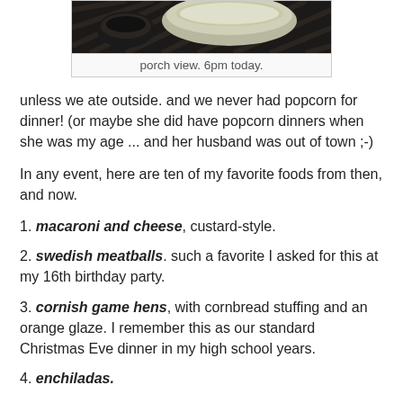[Figure (photo): Photo of a bowl of food on a woven/lattice surface, with a small dark bowl visible, viewed from outside on a porch. Partially cropped at top.]
porch view. 6pm today.
unless we ate outside. and we never had popcorn for dinner! (or maybe she did have popcorn dinners when she was my age ... and her husband was out of town ;-)
In any event, here are ten of my favorite foods from then, and now.
1. macaroni and cheese, custard-style.
2. swedish meatballs. such a favorite I asked for this at my 16th birthday party.
3. cornish game hens, with cornbread stuffing and an orange glaze. I remember this as our standard Christmas Eve dinner in my high school years.
4. enchiladas.